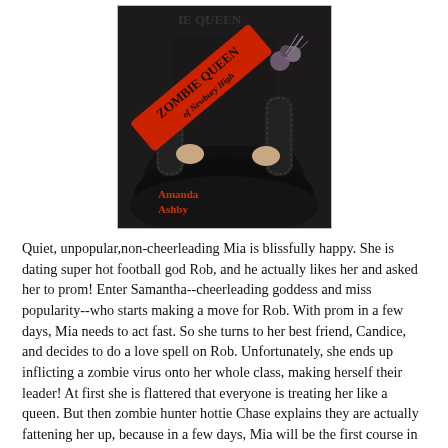[Figure (illustration): Book cover of a novel showing a person in a black dress wearing a red sash that reads 'Zombie Queen of Newbury High' by Amanda Ashby. The figure holds what appears to be a corsage or decorative flowers.]
Quiet, unpopular,non-cheerleading Mia is blissfully happy. She is dating super hot football god Rob, and he actually likes her and asked her to prom! Enter Samantha--cheerleading goddess and miss popularity--who starts making a move for Rob. With prom in a few days, Mia needs to act fast. So she turns to her best friend, Candice, and decides to do a love spell on Rob. Unfortunately, she ends up inflicting a zombie virus onto her whole class, making herself their leader! At first she is flattered that everyone is treating her like a queen. But then zombie hunter hottie Chase explains they are actually fattening her up, because in a few days, Mia will be the first course in their new diet. She's sure she and Chase can